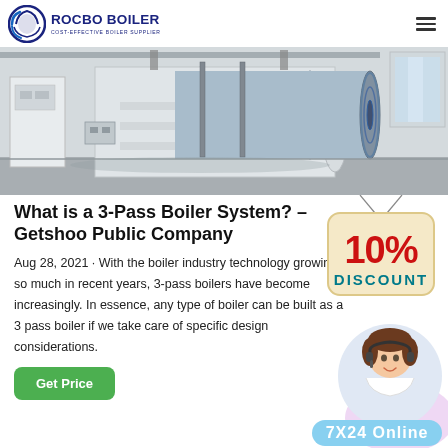ROCBO BOILER — COST-EFFECTIVE BOILER SUPPLIER
[Figure (photo): Industrial boiler facility showing two large cylindrical horizontal boilers (blue and white) in a manufacturing plant interior]
What is a 3-Pass Boiler System? – Getshoo Public Company
Aug 28, 2021 · With the boiler industry technology growing so much in recent years, 3-pass boilers have become increasingly. In essence, any type of boiler can be built as a 3 pass boiler if we take care of specific design considerations.
[Figure (illustration): 10% DISCOUNT badge/sticker overlaid on the article]
[Figure (photo): Customer service representative with headset smiling, with 7X24 Online label at bottom right]